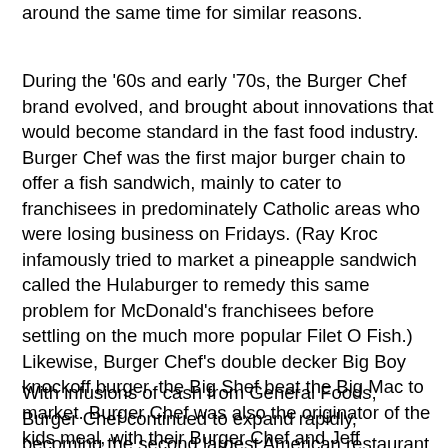around the same time for similar reasons.
During the '60s and early '70s, the Burger Chef brand evolved, and brought about innovations that would become standard in the fast food industry. Burger Chef was the first major burger chain to offer a fish sandwich, mainly to cater to franchisees in predominately Catholic areas who were losing business on Fridays. (Ray Kroc infamously tried to market a pineapple sandwich called the Hulaburger to remedy this same problem for McDonald's franchisees before settling on the much more popular Filet O Fish.) Likewise, Burger Chef's double decker Big Boy knockoff burger, the Big Shef beat the Big Mac to market. Burger Chef was also the originator of the kids meal, with their Burger Chef and Jeff characters and Funmeal line. They even unsuccessfully attempted to sue McDonald's when they launched the Happy Meal a few years later.
With infusions of cash from General Foods, Burger Chef continued to expand rapidly, becoming the second largest American restaurant chain in 1971 with over 1,200 locations, within 100 or so of McDonald's at the time. The General